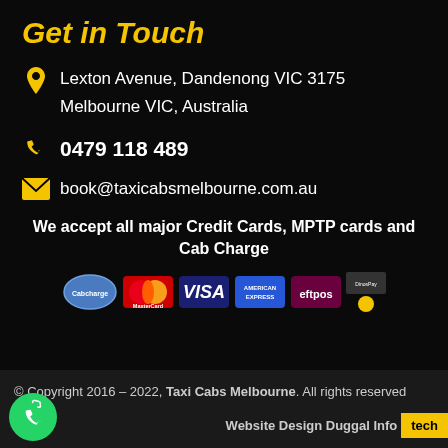Get in Touch
Lexton Avenue, Dandenong VIC 3175
Melbourne VIC, Australia
0479 118 489
book@taxicabsmelbourne.com.au
We accept all major Credit Cards, MPTP cards and Cab Charge
[Figure (logo): Payment method logos: Cabcharge, MasterCard, VISA, American Express, eftpos, DinosPay, and other payment icons]
© Copyright 2016 – 2022, Taxi Cabs Melbourne. All rights reserved
Website Design Duggal Infotech